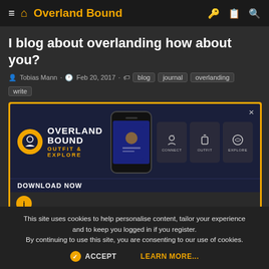≡ 🏠 Overland Bound  🔑 📋 🔍
I blog about overlanding how about you?
👤 Tobias Mann · 🕐 Feb 20, 2017 · 🏷 blog  journal  overlanding  write
[Figure (screenshot): Overland Bound app promotional banner showing logo, phone mockup, and feature cards for CONNECT, OUTFIT, EXPLORE with a DOWNLOAD NOW partially visible bar at bottom. A close (×) button appears top right. An info (i) icon circle in yellow appears on the left side.]
This site uses cookies to help personalise content, tailor your experience and to keep you logged in if you register. By continuing to use this site, you are consenting to our use of cookies.
✓ ACCEPT   LEARN MORE...